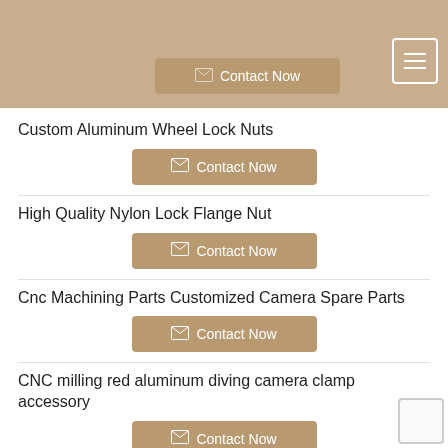Contact Now
Custom Aluminum Wheel Lock Nuts
High Quality Nylon Lock Flange Nut
Cnc Machining Parts Customized Camera Spare Parts
CNC milling red aluminum diving camera clamp accessory
CNC processing aluminum extension arm bracket